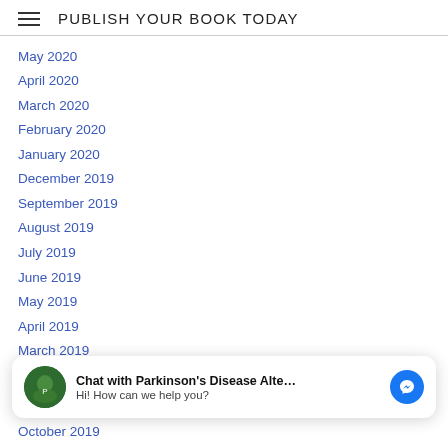PUBLISH YOUR BOOK TODAY
May 2020
April 2020
March 2020
February 2020
January 2020
December 2019
September 2019
August 2019
July 2019
June 2019
May 2019
April 2019
March 2019
February 2019
[Figure (screenshot): Chat widget: Chat with Parkinson's Disease Alte... Hi! How can we help you? — with avatar, text, and Facebook Messenger icon]
November 2018
October 2019